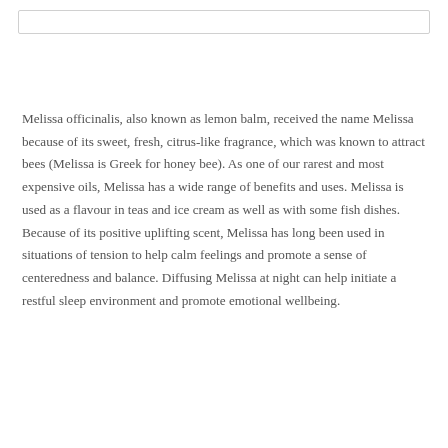Melissa officinalis, also known as lemon balm, received the name Melissa because of its sweet, fresh, citrus-like fragrance, which was known to attract bees (Melissa is Greek for honey bee). As one of our rarest and most expensive oils, Melissa has a wide range of benefits and uses. Melissa is used as a flavour in teas and ice cream as well as with some fish dishes. Because of its positive uplifting scent, Melissa has long been used in situations of tension to help calm feelings and promote a sense of centeredness and balance. Diffusing Melissa at night can help initiate a restful sleep environment and promote emotional wellbeing.